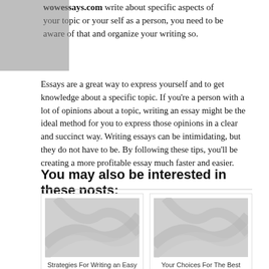wowessays.com write about specific aspects of your topic or yourself as a person, you need to be aware of that and organize your writing so.
Essays are a great way to express yourself and to get knowledge about a specific topic. If you're a person with a lot of opinions about a topic, writing an essay might be the ideal method for you to express those opinions in a clear and succinct way. Writing essays can be intimidating, but they do not have to be. By following these tips, you'll be creating a more profitable essay much faster and easier.
You may also be interested in these posts:
[Figure (illustration): Placeholder image with diagonal light grey wave/curl pattern on grey background, representing a linked article thumbnail]
Strategies For Writing an Easy Essay
[Figure (illustration): Placeholder image with diagonal light grey wave/curl pattern on grey background, representing a linked article thumbnail]
Your Choices For The Best Paper Writing Service